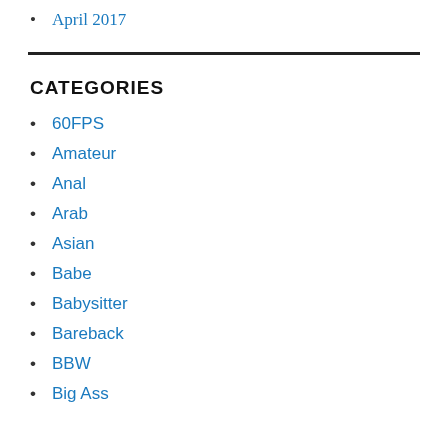April 2017
CATEGORIES
60FPS
Amateur
Anal
Arab
Asian
Babe
Babysitter
Bareback
BBW
Big Ass